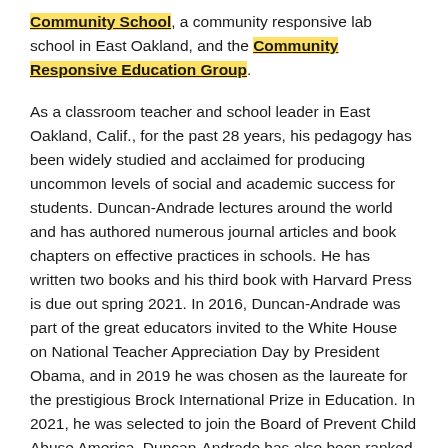Community School, a community responsive lab school in East Oakland, and the Community Responsive Education Group.
As a classroom teacher and school leader in East Oakland, Calif., for the past 28 years, his pedagogy has been widely studied and acclaimed for producing uncommon levels of social and academic success for students. Duncan-Andrade lectures around the world and has authored numerous journal articles and book chapters on effective practices in schools. He has written two books and his third book with Harvard Press is due out spring 2021. In 2016, Duncan-Andrade was part of the great educators invited to the White House on National Teacher Appreciation Day by President Obama, and in 2019 he was chosen as the laureate for the prestigious Brock International Prize in Education. In 2021, he was selected to join the Board of Prevent Child Abuse America. Duncan-Andrade has also been ranked as one of the nation's most influential scholars by EdWeek's Public Influence Rankings.